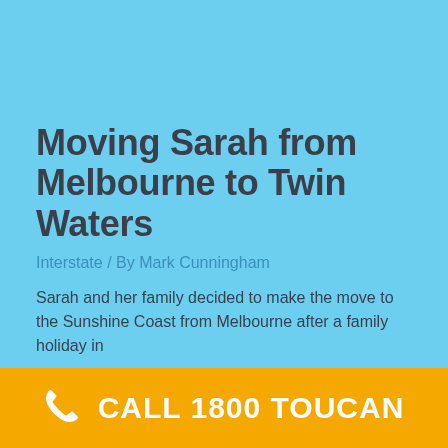Moving Sarah from Melbourne to Twin Waters
Interstate / By Mark Cunningham
Sarah and her family decided to make the move to the Sunshine Coast from Melbourne after a family holiday in
CALL 1800 TOUCAN